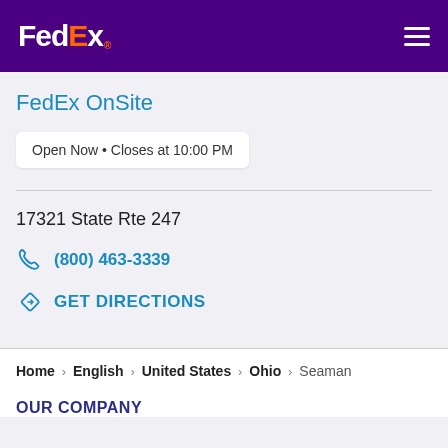[Figure (logo): FedEx logo in white and orange on purple background header with hamburger menu icon]
FedEx OnSite
Open Now • Closes at 10:00 PM
17321 State Rte 247
(800) 463-3339
GET DIRECTIONS
Home > English > United States > Ohio > Seaman
OUR COMPANY